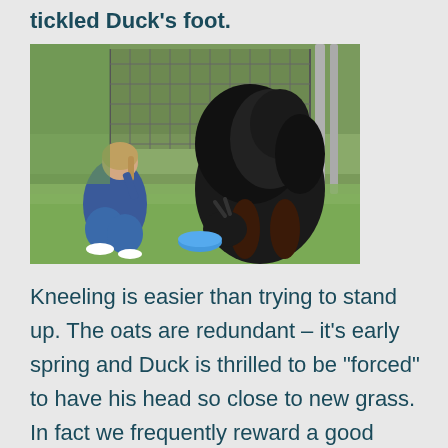tickled Duck’s foot.
[Figure (photo): A woman in a blue jacket kneeling beside a large, shaggy black goat with a blue bowl on green grass inside a metal fence enclosure.]
Kneeling is easier than trying to stand up. The oats are redundant – it’s early spring and Duck is thrilled to be “forced” to have his head so close to new grass. In fact we frequently reward a good obstacle